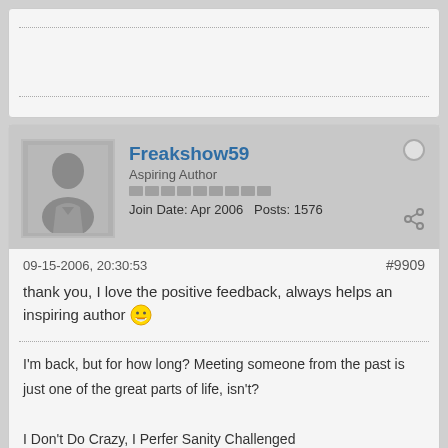Freakshow59 | Aspiring Author | Join Date: Apr 2006 | Posts: 1576
09-15-2006, 20:30:53
#9909
thank you, I love the positive feedback, always helps an inspiring author
I'm back, but for how long? Meeting someone from the past is just one of the great parts of life, isn't?
I Don't Do Crazy, I Perfer Sanity Challenged
I'm not like crazy people, I just hang out and act like them ^^